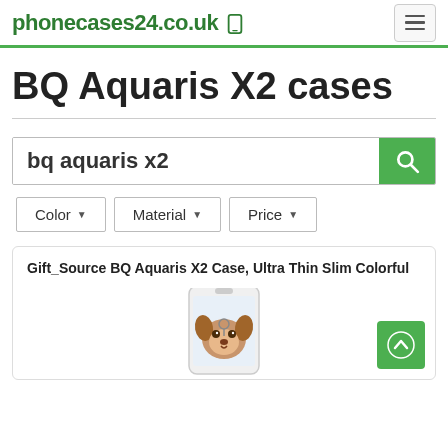phonecases24.co.uk
BQ Aquaris X2 cases
bq aquaris x2
Color
Material
Price
Gift_Source BQ Aquaris X2 Case, Ultra Thin Slim Colorful
[Figure (photo): Phone case with puppy/dog design on BQ Aquaris X2 smartphone, shown partially at bottom of card]